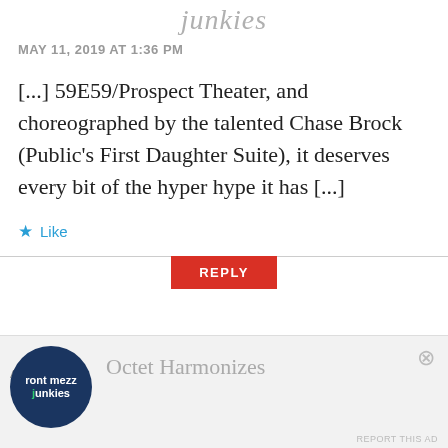junkies
MAY 11, 2019 AT 1:36 PM
[...] 59E59/Prospect Theater, and choreographed by the talented Chase Brock (Public's First Daughter Suite), it deserves every bit of the hyper hype it has [...]
Like
REPLY
[Figure (other): Advertisement banner with Front Mezz Junkies logo avatar and Octet Harmonizes title]
Advertisements